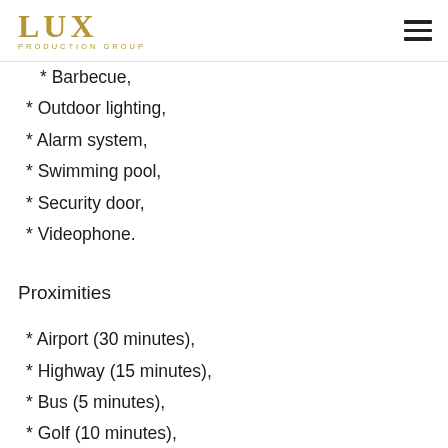LUX PRODUCTION GROUP
* Barbecue,
* Outdoor lighting,
* Alarm system,
* Swimming pool,
* Security door,
* Videophone.
Proximities
* Airport (30 minutes),
* Highway (15 minutes),
* Bus (5 minutes),
* Golf (10 minutes),
* Beach (10 minutes).